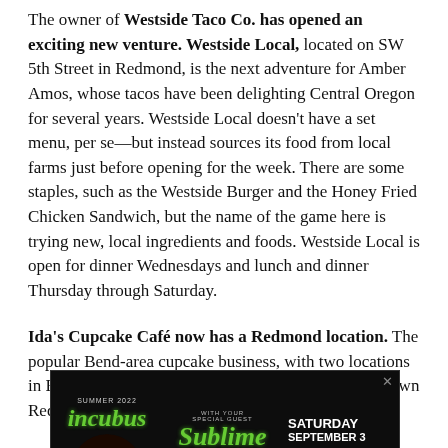The owner of Westside Taco Co. has opened an exciting new venture. Westside Local, located on SW 5th Street in Redmond, is the next adventure for Amber Amos, whose tacos have been delighting Central Oregon for several years. Westside Local doesn't have a set menu, per se—but instead sources its food from local farms just before opening for the week. There are some staples, such as the Westside Burger and the Honey Fried Chicken Sandwich, but the name of the game here is trying new, local ingredients and foods. Westside Local is open for dinner Wednesdays and lunch and dinner Thursday through Saturday.
Ida's Cupcake Café now has a Redmond location. The popular Bend-area cupcake business, with two locations in Bend, had a ribbon-cutting ceremony for its downtown Redmond location in late February—
[Figure (infographic): Advertisement for Incubus concert with special guest Sublime with Rome and The Aquadolls. Saturday September 3, Hayden Homes Amphitheater. Summer 2022. Live Nation and Ticket logos shown.]